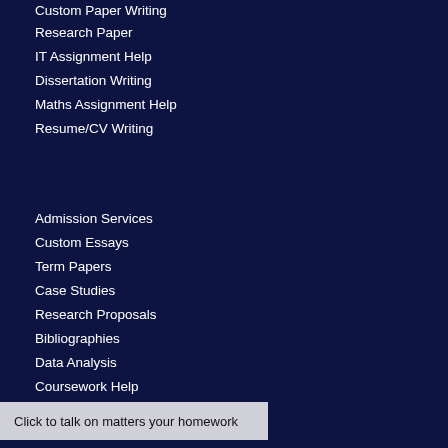Custom Paper Writing
Research Paper
IT Assignment Help
Dissertation Writing
Maths Assignment Help
Resume/CV Writing
Admission Services
Custom Essays
Term Papers
Case Studies
Research Proposals
Bibliographies
Data Analysis
Coursework Help
Click to talk on matters your homework